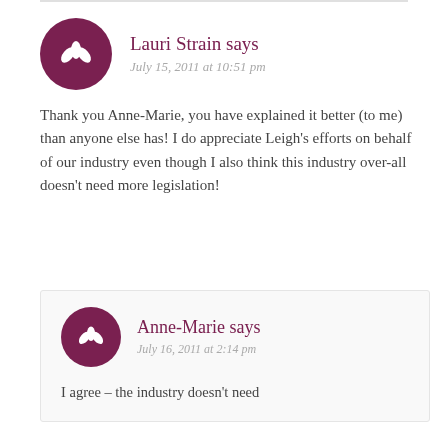Lauri Strain says
July 15, 2011 at 10:51 pm
Thank you Anne-Marie, you have explained it better (to me) than anyone else has! I do appreciate Leigh’s efforts on behalf of our industry even though I also think this industry over-all doesn’t need more legislation!
Anne-Marie says
July 16, 2011 at 2:14 pm
I agree – the industry doesn’t need